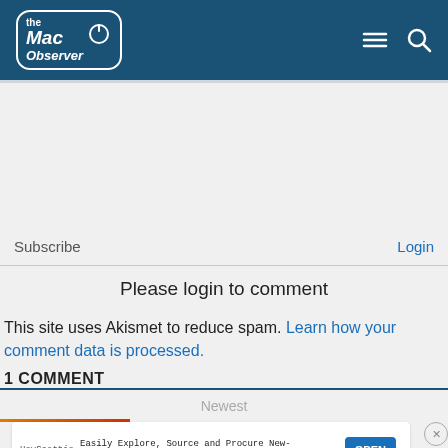The Mac Observer
Subscribe
Login
Please login to comment
This site uses Akismet to reduce spam. Learn how your comment data is processed.
1 COMMENT
Newest
[Figure (screenshot): Advertisement banner: HeyScottie - Easily Explore, Source and Procure New-you Manufacturing Services with OPEN button]